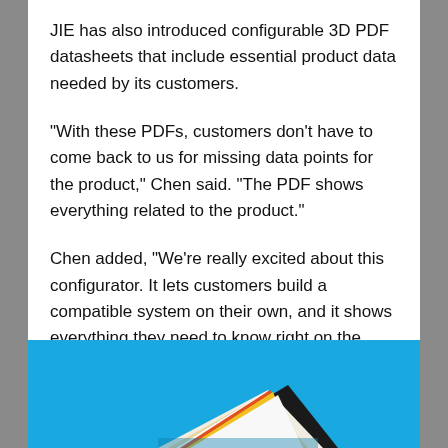JIE has also introduced configurable 3D PDF datasheets that include essential product data needed by its customers.
"With these PDFs, customers don't have to come back to us for missing data points for the product," Chen said. "The PDF shows everything related to the product."
Chen added, "We're really excited about this configurator. It lets customers build a compatible system on their own, and it shows everything they need to know right on the page. It's putting design power in the customer's hands."
[Figure (photo): Photo with blue background showing stacked colorful product datasheets or brochures fanned out]